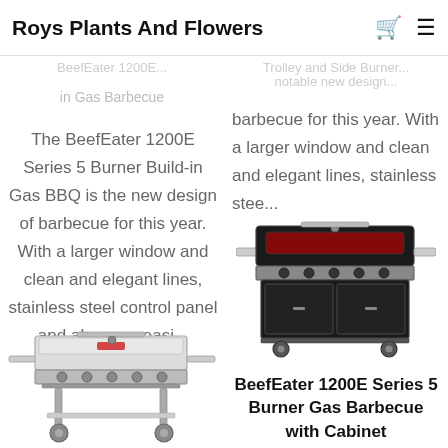Roys Plants And Flowers
BeefEater 1200E...
in Gas Barbecue
The BeefEater 1200E Series 5 Burner Build-in Gas BBQ is the new design of barbecue for this year. With a larger window and clean and elegant lines, stainless steel control panel and also now easi...
[Figure (photo): Silver/stainless gas BBQ grill with two burners and side shelves, Trolley style]
Trolley and Side Burner... notable new design... barbecue for this year. With a larger window and clean and elegant lines, stainless stee...
[Figure (photo): Black gas BBQ grill with 5 burners, cabinet-style base with two doors and wheels]
BeefEater 1200E Series 5 Burner Gas Barbecue with Cabinet